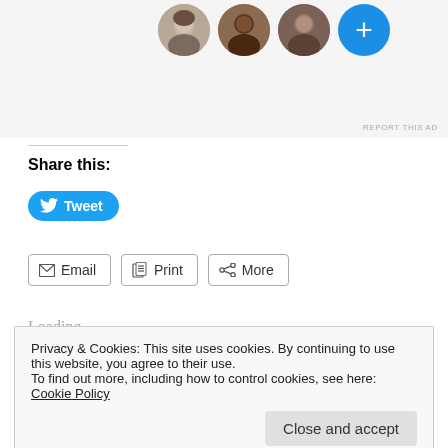[Figure (other): Top portion of an advertisement or social media widget showing three circular profile photo avatars (woman, woman, man) and a blue circle with a plus sign]
REPORT THIS AD
Share this:
Tweet
Share
Post
Email
Print
More
Loading...
This entry was posted in Everyday Apologetics, Home, Marriage,
Privacy & Cookies: This site uses cookies. By continuing to use this website, you agree to their use.
To find out more, including how to control cookies, see here: Cookie Policy
Close and accept
What I Found in the Nursing Home